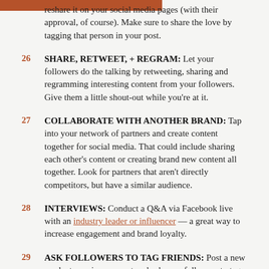reshare it on your social media pages (with their approval, of course). Make sure to share the love by tagging that person in your post.
26 SHARE, RETWEET, + REGRAM: Let your followers do the talking by retweeting, sharing and regramming interesting content from your followers. Give them a little shout-out while you're at it.
27 COLLABORATE WITH ANOTHER BRAND: Tap into your network of partners and create content together for social media. That could include sharing each other's content or creating brand new content all together. Look for partners that aren't directly competitors, but have a similar audience.
28 INTERVIEWS: Conduct a Q&A via Facebook live with an industry leader or influencer — a great way to increase engagement and brand loyalty.
29 ASK FOLLOWERS TO TAG FRIENDS: Post a new product, service or event and ask your followers to tag a friend who might be interested in the news